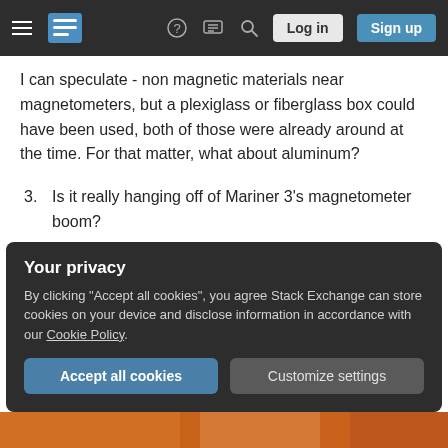Stack Exchange navigation bar with hamburger menu, logo, help, chat, search icons, Log in and Sign up buttons
I can speculate - non magnetic materials near magnetometers, but a plexiglass or fiberglass box could have been used, both of those were already around at the time. For that matter, what about aluminum?
3. Is it really hanging off of Mariner 3's magnetometer boom?
This wooden shell looks so heavy (it's not Balsa this time)!
Your privacy
By clicking "Accept all cookies", you agree Stack Exchange can store cookies on your device and disclose information in accordance with our Cookie Policy.
[Accept all cookies] [Customize settings]
[Figure (photo): Bottom strip showing an orange/brown colored object, partially visible]